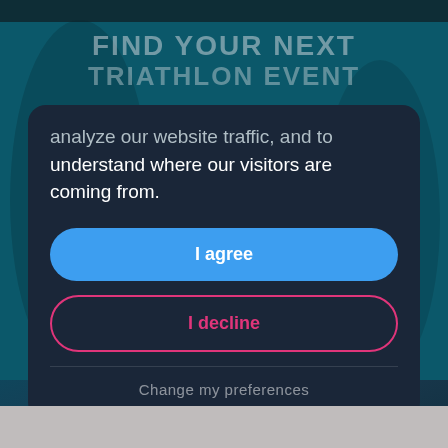[Figure (screenshot): Background image of triathlon event with teal/dark blue color overlay and hero text 'FIND YOUR NEXT TRIATHLON EVENT']
analyze our website traffic, and to understand where our visitors are coming from.
I agree
I decline
Change my preferences